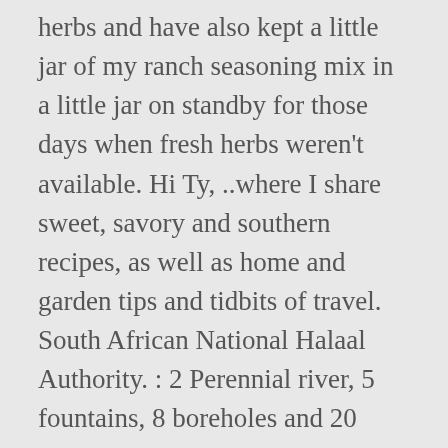herbs and have also kept a little jar of my ranch seasoning mix in a little jar on standby for those days when fresh herbs weren't available. Hi Ty, ..where I share sweet, savory and southern recipes, as well as home and garden tips and tidbits of travel. South African National Halaal Authority. : 2 Perennial river, 5 fountains, 8 boreholes and 20 dams. Add all ingredients to a food processor, blender, or spice grinder and pulse about 5 to 7 times. I'm not sure of the packet amount, but you could check the amounts on your packets and use an equal amount of this homemade ranch seasoning mix. We forgot to pick up a packet of ranch dressing mix at the store and this